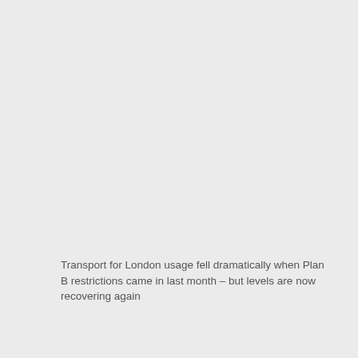Transport for London usage fell dramatically when Plan B restrictions came in last month – but levels are now recovering again